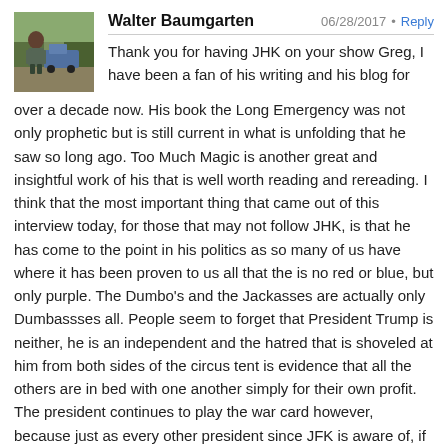[Figure (photo): Avatar photo of Walter Baumgarten, a man outdoors near a motorcycle or vehicle, wearing a jacket.]
Walter Baumgarten
06/28/2017 • Reply
Thank you for having JHK on your show Greg, I have been a fan of his writing and his blog for over a decade now. His book the Long Emergency was not only prophetic but is still current in what is unfolding that he saw so long ago. Too Much Magic is another great and insightful work of his that is well worth reading and rereading. I think that the most important thing that came out of this interview today, for those that may not follow JHK, is that he has come to the point in his politics as so many of us have where it has been proven to us all that the is no red or blue, but only purple. The Dumbo's and the Jackasses are actually only Dumbassses all. People seem to forget that President Trump is neither, he is an independent and the hatred that is shoveled at him from both sides of the circus tent is evidence that all the others are in bed with one another simply for their own profit. The president continues to play the war card however, because just as every other president since JFK is aware of, if you do not comply with the MIC you wind up on the wrong end of a “lone gunman”. Again thank you for all you do for us. There is no other media, only BS.